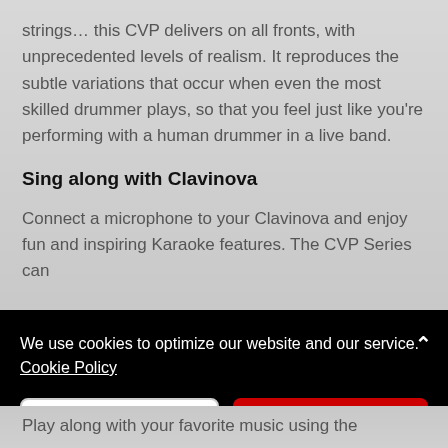strings… this CVP delivers on all fronts, with unprecedented levels of realism. It reproduces the subtle variations that occur when even the most skilled drummer plays, so that you feel just like you're performing with a human drummer in a live band.
Sing along with Clavinova
Connect a microphone to your Clavinova and enjoy fun and inspiring Karaoke features. The CVP Series can
We use cookies to optimize our website and our service.  Cookie Policy
Dismiss
Accept
Play along with your favorite music using the